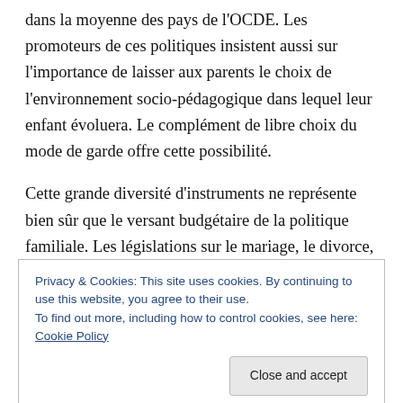dans la moyenne des pays de l'OCDE. Les promoteurs de ces politiques insistent aussi sur l'importance de laisser aux parents le choix de l'environnement socio-pédagogique dans lequel leur enfant évoluera. Le complément de libre choix du mode de garde offre cette possibilité.
Cette grande diversité d'instruments ne représente bien sûr que le versant budgétaire de la politique familiale. Les législations sur le mariage, le divorce, la contraception, l'avortement participent également à la réalisation des
Privacy & Cookies: This site uses cookies. By continuing to use this website, you agree to their use.
To find out more, including how to control cookies, see here: Cookie Policy
Les politiques familiales en Allemagne